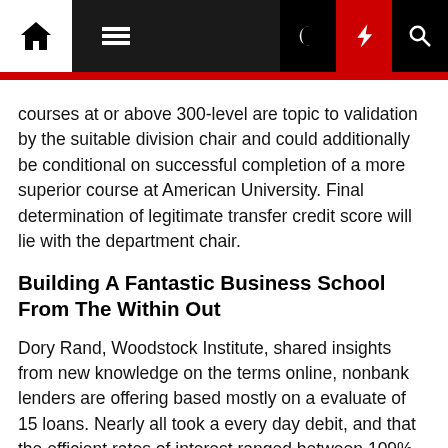Navigation bar with home, menu, moon, lightning, and search icons
courses at or above 300-level are topic to validation by the suitable division chair and could additionally be conditional on successful completion of a more superior course at American University. Final determination of legitimate transfer credit score will lie with the department chair.
Building A Fantastic Business School From The Within Out
Dory Rand, Woodstock Institute, shared insights from new knowledge on the terms online, nonbank lenders are offering based mostly on a evaluate of 15 loans. Nearly all took a every day debit, and that the efficient rates of interest ranged between 109% and 367% for loans under 200 days. The second panel, moderated by Manny Hidalgo, offered the